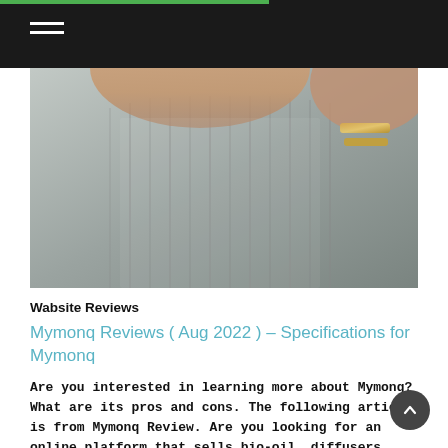[Figure (photo): Person holding up a grey knitted textile/sweater with hands and gold bracelets visible at top right]
Wabsite Reviews
Mymonq Reviews ( Aug 2022 ) – Specifications for Mymonq
Are you interested in learning more about Mymonq? What are its pros and cons. The following article is from Mymonq Review. Are you looking for an online platform that sells bio-oil, diffusers, and other safe products? We will be discussing Mymonq and it…